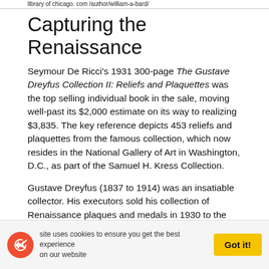library of chicago. com /author/william-a-bard/
Capturing the Renaissance
Seymour De Ricci's 1931 300-page The Gustave Dreyfus Collection II: Reliefs and Plaquettes was the top selling individual book in the sale, moving well-past its $2,000 estimate on its way to realizing $3,835. The key reference depicts 453 reliefs and plaquettes from the famous collection, which now resides in the National Gallery of Art in Washington, D.C., as part of the Samuel H. Kress Collection.
Gustave Dreyfus (1837 to 1914) was an insatiable collector. His executors sold his collection of Renaissance plaques and medals in 1930 to the famed Duveen Brothers Inc., who operated in London, New York, and Paris. Kress would purchase the Dreyfus works over the subsequent decades.
This site uses cookies to ensure you get the best experience on our website